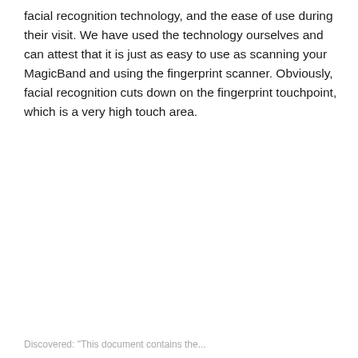facial recognition technology, and the ease of use during their visit. We have used the technology ourselves and can attest that it is just as easy to use as scanning your MagicBand and using the fingerprint scanner. Obviously, facial recognition cuts down on the fingerprint touchpoint, which is a very high touch area.
Discovered: "This document contains the...